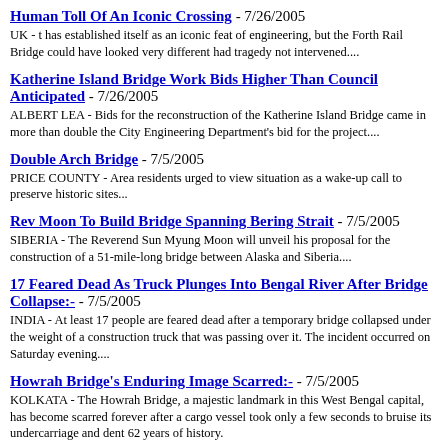Human Toll Of An Iconic Crossing - 7/26/2005
UK - t has established itself as an iconic feat of engineering, but the Forth Rail Bridge could have looked very different had tragedy not intervened....
Katherine Island Bridge Work Bids Higher Than Council Anticipated - 7/26/2005
ALBERT LEA - Bids for the reconstruction of the Katherine Island Bridge came in more than double the City Engineering Department's bid for the project....
Double Arch Bridge - 7/5/2005
PRICE COUNTY - Area residents urged to view situation as a wake-up call to preserve historic sites...
Rev Moon To Build Bridge Spanning Bering Strait - 7/5/2005
SIBERIA - The Reverend Sun Myung Moon will unveil his proposal for the construction of a 51-mile-long bridge between Alaska and Siberia....
17 Feared Dead As Truck Plunges Into Bengal River After Bridge Collapse:- - 7/5/2005
INDIA - At least 17 people are feared dead after a temporary bridge collapsed under the weight of a construction truck that was passing over it. The incident occurred on Saturday evening....
Howrah Bridge's Enduring Image Scarred:- - 7/5/2005
KOLKATA - The Howrah Bridge, a majestic landmark in this West Bengal capital, has become scarred forever after a cargo vessel took only a few seconds to bruise its undercarriage and dent 62 years of history.